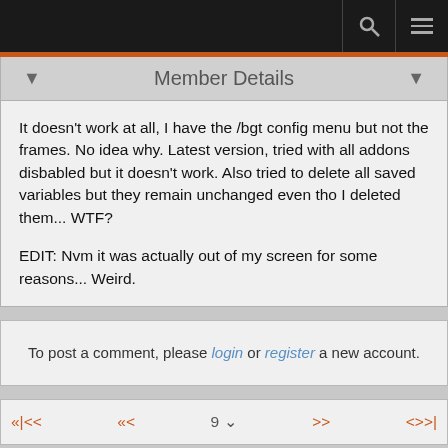Member Details
It doesn't work at all, I have the /bgt config menu but not the frames. No idea why. Latest version, tried with all addons disbabled but it doesn't work. Also tried to delete all saved variables but they remain unchanged even tho I deleted them... WTF?

EDIT: Nvm it was actually out of my screen for some reasons... Weird.
To post a comment, please login or register a new account.
«|<<   «<   9 ∨   >>   «>>|
Forums » General AddOns